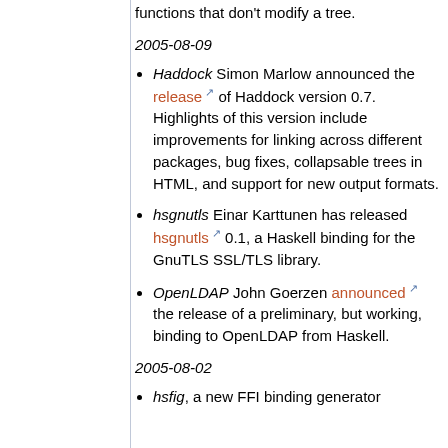functions that don't modify a tree.
2005-08-09
Haddock Simon Marlow announced the release of Haddock version 0.7. Highlights of this version include improvements for linking across different packages, bug fixes, collapsable trees in HTML, and support for new output formats.
hsgnutls Einar Karttunen has released hsgnutls 0.1, a Haskell binding for the GnuTLS SSL/TLS library.
OpenLDAP John Goerzen announced the release of a preliminary, but working, binding to OpenLDAP from Haskell.
2005-08-02
hsfig, a new FFI binding generator